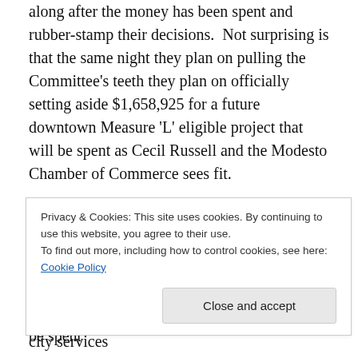along after the money has been spent and rubber-stamp their decisions.  Not surprising is that the same night they plan on pulling the Committee's teeth they plan on officially setting aside $1,658,925 for a future downtown Measure 'L' eligible project that will be spent as Cecil Russell and the Modesto Chamber of Commerce sees fit.
The crux of the problem lies in where the money is going to be spent.  Citizen Committee members we've talked with are saying special interest groups behind the scene are insisting that a large chunk of the money be spent
Privacy & Cookies: This site uses cookies. By continuing to use this website, you agree to their use.
To find out more, including how to control cookies, see here: Cookie Policy
County despite LAFCO's rules.  They receive city services